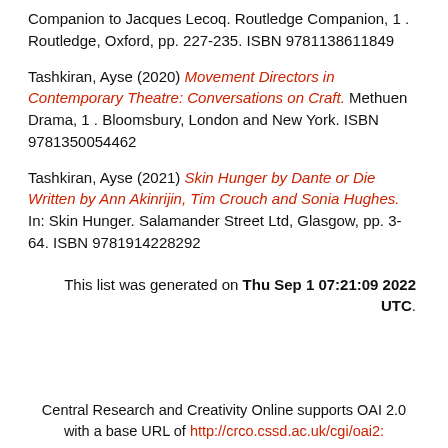Companion to Jacques Lecoq. Routledge Companion, 1 . Routledge, Oxford, pp. 227-235. ISBN 9781138611849
Tashkiran, Ayse (2020) Movement Directors in Contemporary Theatre: Conversations on Craft. Methuen Drama, 1 . Bloomsbury, London and New York. ISBN 9781350054462
Tashkiran, Ayse (2021) Skin Hunger by Dante or Die Written by Ann Akinrijin, Tim Crouch and Sonia Hughes. In: Skin Hunger. Salamander Street Ltd, Glasgow, pp. 3-64. ISBN 9781914228292
This list was generated on Thu Sep 1 07:21:09 2022 UTC.
Central Research and Creativity Online supports OAI 2.0 with a base URL of http://crco.cssd.ac.uk/cgi/oai2: